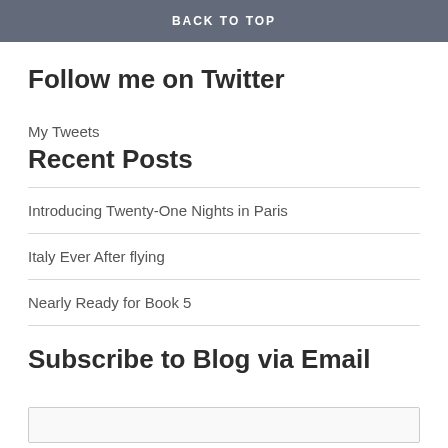BACK TO TOP
Follow me on Twitter
My Tweets
Recent Posts
Introducing Twenty-One Nights in Paris
Italy Ever After flying
Nearly Ready for Book 5
Subscribe to Blog via Email